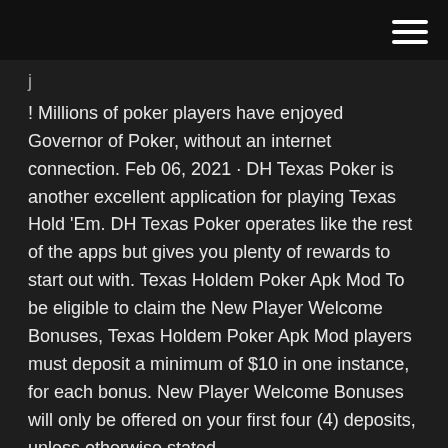! Millions of poker players have enjoyed Governor of Poker, without an internet connection. Feb 06, 2021 · DH Texas Poker is another excellent application for playing Texas Hold 'Em. DH Texas Poker operates like the rest of the apps but gives you plenty of rewards to start out with. Texas Holdem Poker Apk Mod To be eligible to claim the New Player Welcome Bonuses, Texas Holdem Poker Apk Mod players must deposit a minimum of $10 in one instance, for each bonus. New Player Welcome Bonuses will only be offered on your first four (4) deposits, unless otherwise stated.
Скачать Poker World - Offline Texas Holdem (Мод - відкриті карти